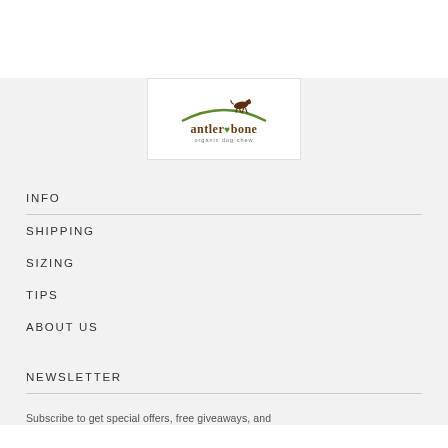[Figure (logo): Antler & Bone organic dog chew logo with a running dog silhouette and a green arch]
INFO
SHIPPING
SIZING
TIPS
ABOUT US
NEWSLETTER
Subscribe to get special offers, free giveaways, and...